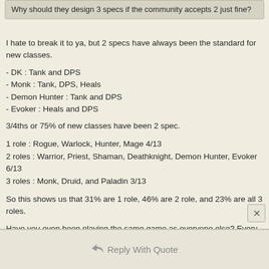Why should they design 3 specs if the community accepts 2 just fine?
I hate to break it to ya, but 2 specs have always been the standard for new classes.
- DK : Tank and DPS
- Monk : Tank, DPS, Heals
- Demon Hunter : Tank and DPS
- Evoker : Heals and DPS
3/4ths or 75% of new classes have been 2 spec.
1 role : Rogue, Warlock, Hunter, Mage 4/13
2 roles : Warrior, Priest, Shaman, Deathknight, Demon Hunter, Evoker 6/13
3 roles : Monk, Druid, and Paladin 3/13
So this shows us that 31% are 1 role, 46% are 2 role, and 23% are all 3 roles.
Have you even been playing the same game as everyone else? Every class doesnt need to be a hybrid. Every class doesnt have to have the same roles. Blizzard made the right call by making it heals / dps only. If you hate it so much, maybe Dragonflight isnt for you.